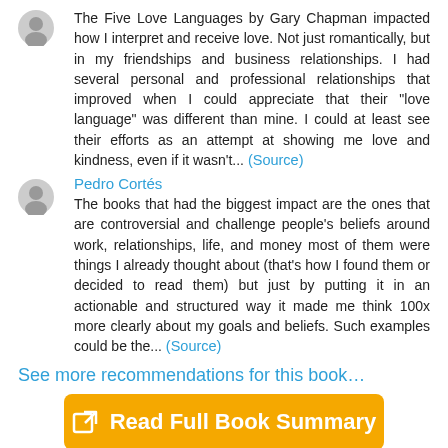The Five Love Languages by Gary Chapman impacted how I interpret and receive love. Not just romantically, but in my friendships and business relationships. I had several personal and professional relationships that improved when I could appreciate that their "love language" was different than mine. I could at least see their efforts as an attempt at showing me love and kindness, even if it wasn't... (Source)
Pedro Cortés
The books that had the biggest impact are the ones that are controversial and challenge people's beliefs around work, relationships, life, and money most of them were things I already thought about (that's how I found them or decided to read them) but just by putting it in an actionable and structured way it made me think 100x more clearly about my goals and beliefs. Such examples could be the... (Source)
See more recommendations for this book…
Read Full Book Summary